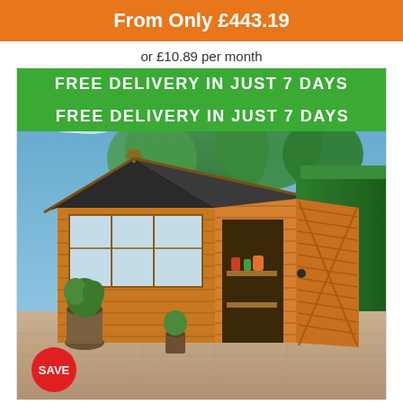From Only £443.19
or £10.89 per month
[Figure (photo): Wooden garden shed with open double doors revealing shelving with garden tools and plant pots inside. Green hedge on right, patio stone floor, trees in background. Green banner overlay reading FREE DELIVERY IN JUST 7 DAYS. Red SAVE badge in bottom left corner.]